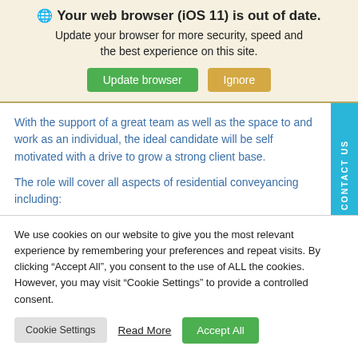🌐 Your web browser (iOS 11) is out of date.
Update your browser for more security, speed and the best experience on this site.
With the support of a great team as well as the space to and work as an individual, the ideal candidate will be self motivated with a drive to grow a strong client base.
The role will cover all aspects of residential conveyancing including:
We use cookies on our website to give you the most relevant experience by remembering your preferences and repeat visits. By clicking “Accept All”, you consent to the use of ALL the cookies. However, you may visit “Cookie Settings” to provide a controlled consent.